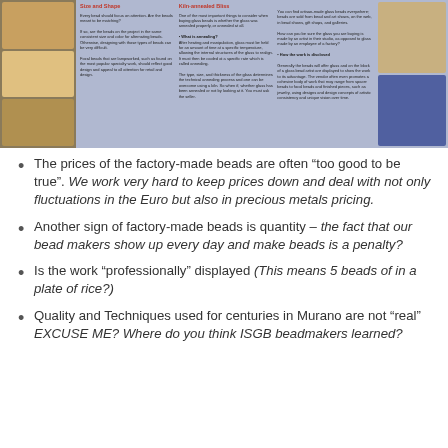[Figure (photo): Magazine spread or brochure layout showing glass beads with multiple columns of text about size, shape, kiln-mandrel bliss, and other bead-making topics, with photos of colorful beads on the right side.]
The prices of the factory-made beads are often “too good to be true”. We work very hard to keep prices down and deal with not only fluctuations in the Euro but also in precious metals pricing.
Another sign of factory-made beads is quantity – the fact that our bead makers show up every day and make beads is a penalty?
Is the work “professionally” displayed (This means 5 beads of in a plate of rice?)
Quality and Techniques used for centuries in Murano are not “real” EXCUSE ME? Where do you think ISGB beadmakers learned?